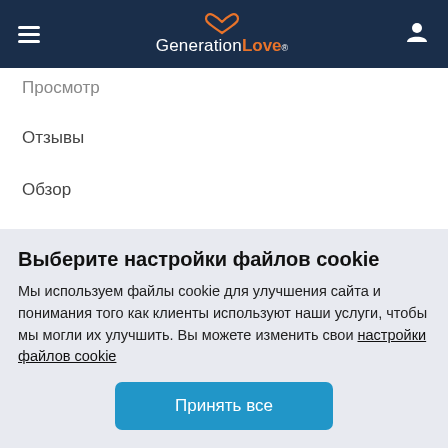GenerationLove®
Просмотр
Отзывы
Обзор
Цены
Довольные клиенты
Помощь клиентам
Выберите настройки файлов cookie
Мы используем файлы cookie для улучшения сайта и понимания того как клиенты используют наши услуги, чтобы мы могли их улучшить. Вы можете изменить свои настройки файлов cookie